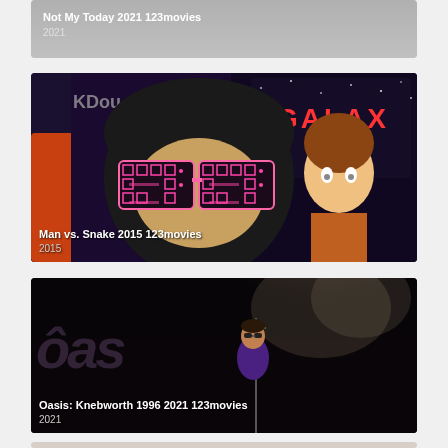[Figure (screenshot): Partially visible movie card for 'Not My Today 2021 123movies' with gray background showing title and year 2021]
[Figure (screenshot): Movie thumbnail for 'Man vs. Snake 2015 123movies' showing animated cartoon character with large glasses reflecting a snake/arcade game, with 'GALAXY' neon sign in background. Year: 2015]
[Figure (screenshot): Movie thumbnail for 'Oasis: Knebworth 1996 2021 123movies' showing a performer on stage with dramatic smoke/spotlight effect and partial 'oasis' logo. Year: 2021]
[Figure (screenshot): Partially visible fourth movie card at bottom of page with light gray/beige background]